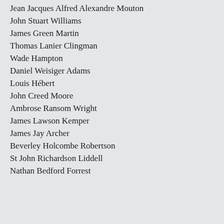Jean Jacques Alfred Alexandre Mouton
John Stuart Williams
James Green Martin
Thomas Lanier Clingman
Wade Hampton
Daniel Weisiger Adams
Louis Hébert
John Creed Moore
Ambrose Ransom Wright
James Lawson Kemper
James Jay Archer
Beverley Holcombe Robertson
St John Richardson Liddell
Nathan Bedford Forrest